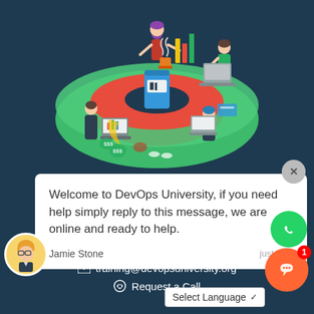[Figure (illustration): Isometric illustration of diverse team of people working around a large round table with laptops, charts, and coffee, on a dark teal background. DevOps University promotional image.]
Welcome to DevOps University, if you need help simply reply to this message, we are online and ready to help.
Jamie Stone
just now
training@devopsuniversity.org
Request a Call
Select Language